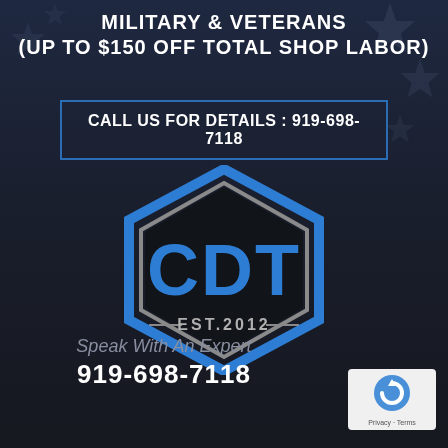MILITARY & VETERANS (UP TO $150 OFF TOTAL SHOP LABOR)
CALL US FOR DETAILS : 919-698-7118
[Figure (logo): CDT EST.2012 hexagon badge logo with blue and gray border on dark background]
Speak With An Expert
919-698-7118
[Figure (other): reCAPTCHA badge with Privacy - Terms label]